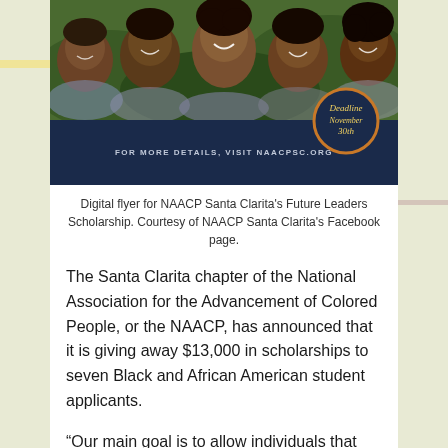[Figure (photo): Digital flyer for NAACP Santa Clarita's Future Leaders Scholarship. Shows a group of smiling young Black students at top, with a dark navy banner at bottom reading 'FOR MORE DETAILS, VISIT NAACPSC.ORG' and a circular badge overlay reading 'Deadline November 30th'.]
Digital flyer for NAACP Santa Clarita's Future Leaders Scholarship. Courtesy of NAACP Santa Clarita's Facebook page.
The Santa Clarita chapter of the National Association for the Advancement of Colored People, or the NAACP, has announced that it is giving away $13,000 in scholarships to seven Black and African American student applicants.
“Our main goal is to allow individuals that might not